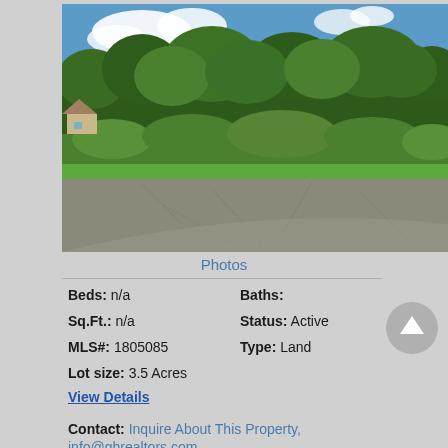[Figure (photo): Outdoor photo of a vacant land parcel showing a paved road/driveway in the foreground and dense green trees and shrubs in the background under a partly cloudy blue sky.]
Photos
Beds: n/a
Baths:
Sq.Ft.: n/a
Status: Active
MLS#: 1805085
Type: Land
Lot size: 3.5 Acres
View Details
Contact: Inquire About This Property, info@ghrealtors.com, (608) 782-2300